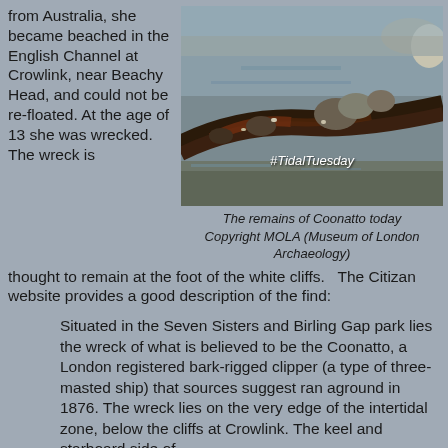from Australia, she became beached in the English Channel at Crowlink, near Beachy Head, and could not be re-floated.  At the age of 13 she was wrecked. The wreck is
[Figure (photo): Photograph of the remains of the Coonatto wreck on a beach, showing dark wooden timbers partially submerged in shallow water with rocks visible. A hashtag #TidalTuesday appears in white italic text overlaid on the image.]
The remains of Coonatto today
Copyright MOLA (Museum of London Archaeology)
thought to remain at the foot of the white cliffs.   The Citizan website provides a good description of the find:
Situated in the Seven Sisters and Birling Gap park lies the wreck of what is believed to be the Coonatto, a London registered bark-rigged clipper (a type of three-masted ship) that sources suggest ran aground in 1876. The wreck lies on the very edge of the intertidal zone, below the cliffs at Crowlink. The keel and starboard side of